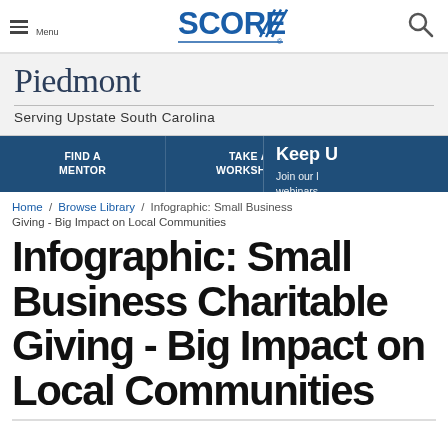SCORE — Menu / Search
Piedmont
Serving Upstate South Carolina
FIND A MENTOR / TAKE A WORKSHOP / BROW LIBR
Keep U
Join our l webinars grow a su
email ad
Home / Browse Library / Infographic: Small Business Giving - Big Impact on Local Communities
Infographic: Small Business Charitable Giving - Big Impact on Local Communities